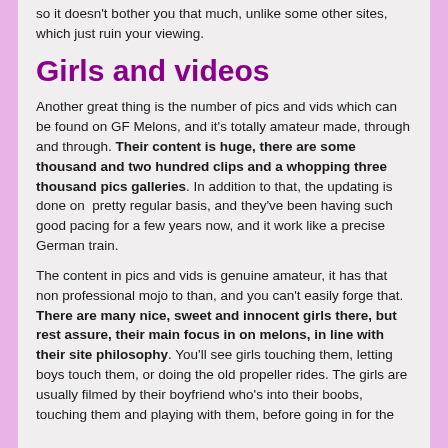so it doesn't bother you that much, unlike some other sites, which just ruin your viewing.
Girls and videos
Another great thing is the number of pics and vids which can be found on GF Melons, and it's totally amateur made, through and through. Their content is huge, there are some thousand and two hundred clips and a whopping three thousand pics galleries. In addition to that, the updating is done on  pretty regular basis, and they've been having such good pacing for a few years now, and it work like a precise German train.
The content in pics and vids is genuine amateur, it has that non professional mojo to than, and you can't easily forge that. There are many nice, sweet and innocent girls there, but rest assure, their main focus in on melons, in line with their site philosophy. You'll see girls touching them, letting boys touch them, or doing the old propeller rides. The girls are usually filmed by their boyfriend who's into their boobs, touching them and playing with them, before going in for the